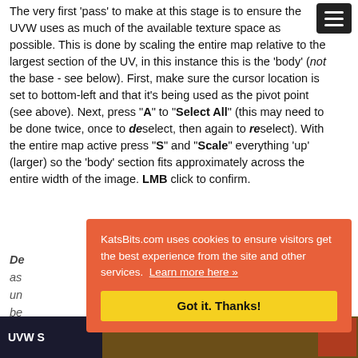The very first 'pass' to make at this stage is to ensure the UVW uses as much of the available texture space as possible. This is done by scaling the entire map relative to the largest section of the UV, in this instance this is the 'body' (not the base - see below). First, make sure the cursor location is set to bottom-left and that it's being used as the pivot point (see above). Next, press "A" to "Select All" (this may need to be done twice, once to deselect, then again to reselect). With the entire map active press "S" and "Scale" everything 'up' (larger) so the 'body' section fits approximately across the entire width of the image. LMB click to confirm.
De... as... un... be... po...
[Figure (screenshot): UVW editor screenshot showing UV map layout]
[Figure (screenshot): Texture image showing checkered pattern]
KatsBits.com uses cookies to ensure visitors get the best experience from the site and other services. Learn more here »
Got it. Thanks!